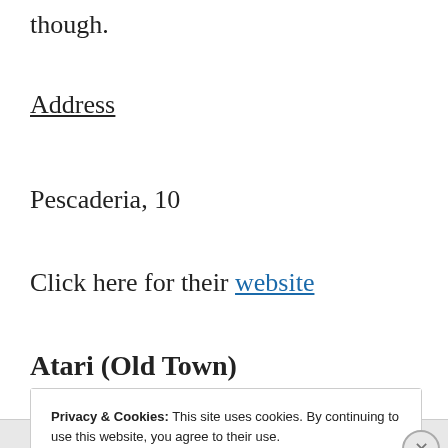though.
Address
Pescaderia, 10
Click here for their website
Atari (Old Town)
Privacy & Cookies: This site uses cookies. By continuing to use this website, you agree to their use.
To find out more, including how to control cookies, see here: Cookie Policy
Close and accept